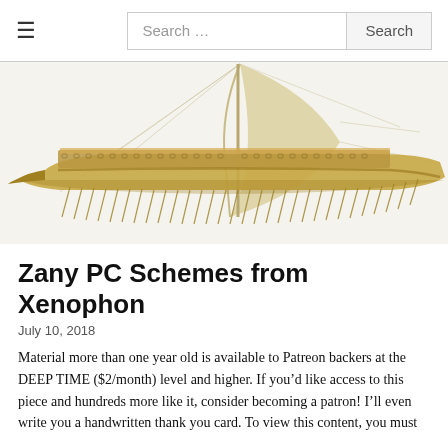≡  Search …  Search
[Figure (photo): Photograph of a detailed wooden scale model of an ancient Greek trireme warship, viewed from the side. The model shows rows of oars extending from the hull and a large cream/tan colored sail. White background.]
Zany PC Schemes from Xenophon
July 10, 2018
Material more than one year old is available to Patreon backers at the DEEP TIME ($2/month) level and higher. If you'd like access to this piece and hundreds more like it, consider becoming a patron! I'll even write you a handwritten thank you card. To view this content, you must